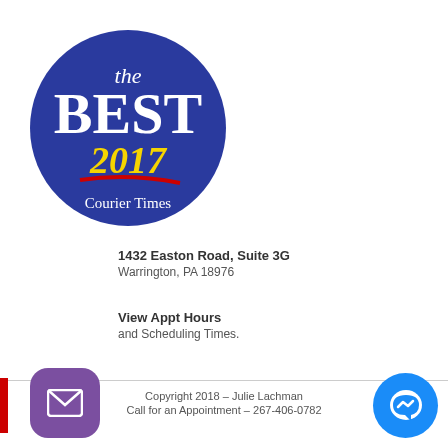[Figure (logo): The Best 2017 Courier Times award badge — dark blue circle with white text 'the BEST', yellow text '2017' with red underline swoosh, white gothic text 'Courier Times']
1432 Easton Road, Suite 3G
Warrington, PA 18976
View Appt Hours
and Scheduling Times.
Copyright 2018 – Julie Lachman
Call for an Appointment – 267-406-0782